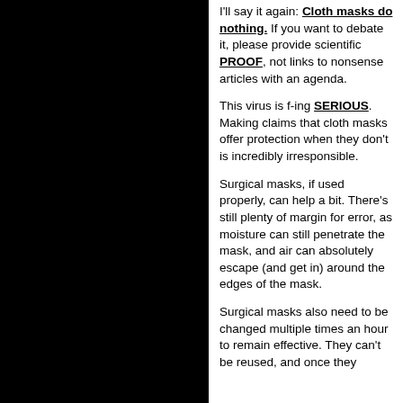I'll say it again: Cloth masks do nothing. If you want to debate it, please provide scientific PROOF, not links to nonsense articles with an agenda.
This virus is f-ing SERIOUS. Making claims that cloth masks offer protection when they don't is incredibly irresponsible.
Surgical masks, if used properly, can help a bit. There's still plenty of margin for error, as moisture can still penetrate the mask, and air can absolutely escape (and get in) around the edges of the mask.
Surgical masks also need to be changed multiple times an hour to remain effective. They can't be reused, and once they